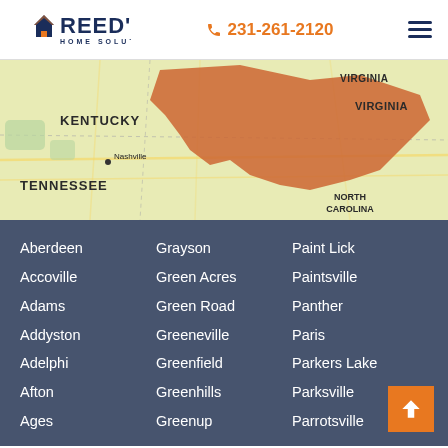Reed's Home Solutions — 231-261-2120
[Figure (map): Map showing a highlighted service area (orange shaded region) overlapping Kentucky, Virginia, Tennessee, and North Carolina regions. State labels: VIRGINIA, KENTUCKY, VIRGINIA, TENNESSEE, NORTH CAROLINA. City label: Nashville.]
Aberdeen
Accoville
Adams
Addyston
Adelphi
Afton
Ages
Grayson
Green Acres
Green Road
Greeneville
Greenfield
Greenhills
Greenup
Paint Lick
Paintsville
Panther
Paris
Parkers Lake
Parksville
Parrotsville